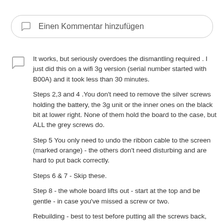Einen Kommentar hinzufügen
It works, but seriously overdoes the dismantling required . I just did this on a wifi 3g version (serial number started with B00A) and it took less than 30 minutes.
Steps 2,3 and 4 .You don't need to remove the silver screws holding the battery, the 3g unit or the inner ones on the black bit at lower right. None of them hold the board to the case, but ALL the grey screws do.
Step 5 You only need to undo the ribbon cable to the screen (marked orange) - the others don't need disturbing and are hard to put back correctly.
Steps 6 & 7 - Skip these.
Step 8 - the whole board lifts out - start at the top and be gentle - in case you've missed a screw or two.
Rebuilding - best to test before putting all the screws back, and refit the back starting at the switch end rather than the